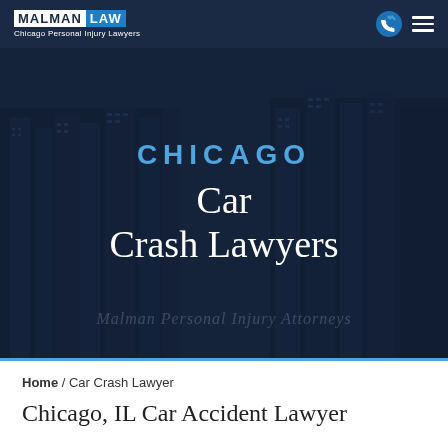MALMAN LAW — Chicago Personal Injury Lawyers
[Figure (screenshot): Hero banner with dark blue overlay on Chicago city building background. Text reads 'CHICAGO' in blue and 'Car Crash Lawyers' in white serif font. Background watermark text: 'Malman Personal Injury Attorneys'.]
Home / Car Crash Lawyer
Chicago, IL Car Accident Lawyer